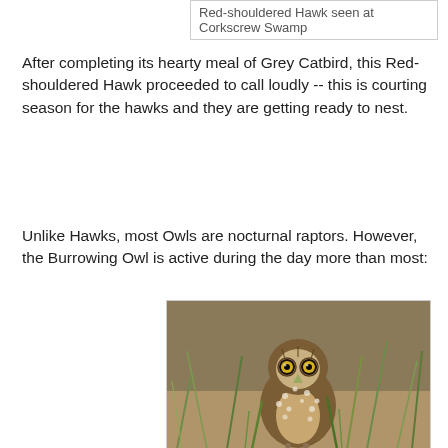Red-shouldered Hawk seen at Corkscrew Swamp
After completing its hearty meal of Grey Catbird, this Red-shouldered Hawk proceeded to call loudly -- this is courting season for the hawks and they are getting ready to nest.
Unlike Hawks, most Owls are nocturnal raptors. However, the Burrowing Owl is active during the day more than most:
[Figure (photo): A Burrowing Owl standing in grass, facing the camera with distinctive yellow eyes and brown-and-white speckled plumage.]